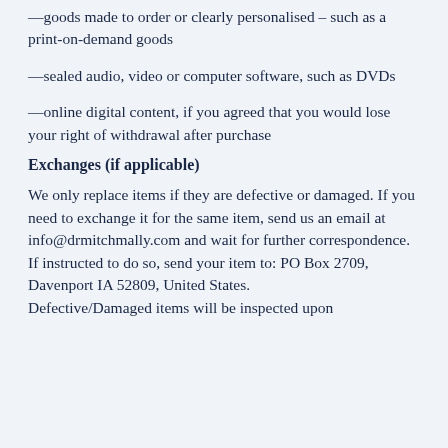—goods made to order or clearly personalised – such as a print-on-demand goods
—sealed audio, video or computer software, such as DVDs
—online digital content, if you agreed that you would lose your right of withdrawal after purchase
Exchanges (if applicable)
We only replace items if they are defective or damaged. If you need to exchange it for the same item, send us an email at info@drmitchmally.com and wait for further correspondence. If instructed to do so, send your item to: PO Box 2709, Davenport IA 52809, United States. Defective/Damaged items will be inspected upon